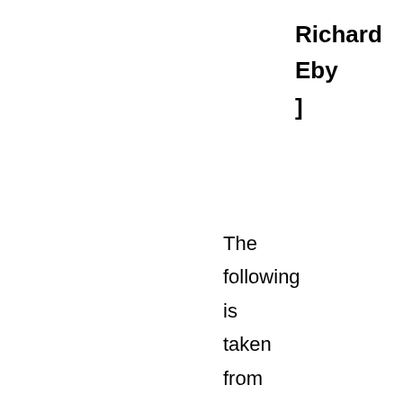Richard
Eby
]
The following is taken from "Caught Up Into Paradise" by Richard